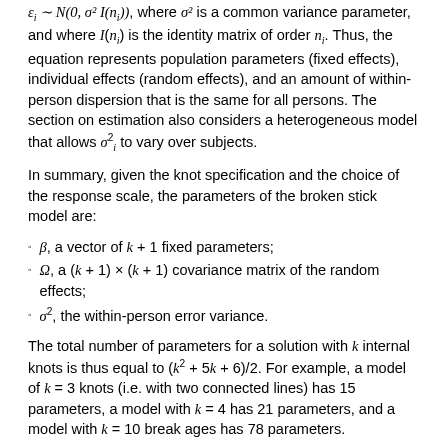ε_i ~ N(0, σ² I(n_i)), where σ² is a common variance parameter, and where I(n_i) is the identity matrix of order n_i. Thus, the equation represents population parameters (fixed effects), individual effects (random effects), and an amount of within-person dispersion that is the same for all persons. The section on estimation also considers a heterogeneous model that allows σ²_i to vary over subjects.
In summary, given the knot specification and the choice of the response scale, the parameters of the broken stick model are:
β, a vector of k + 1 fixed parameters;
Ω, a (k + 1) × (k + 1) covariance matrix of the random effects;
σ², the within-person error variance.
The total number of parameters for a solution with k internal knots is thus equal to (k² + 5k + 6)/2. For example, a model of k = 3 knots (i.e. with two connected lines) has 15 parameters, a model with k = 4 has 21 parameters, and a model with k = 10 break ages has 78 parameters.
Model assumptions
At the person level, we assume b_i ~ N(0, Ω), i.e. the